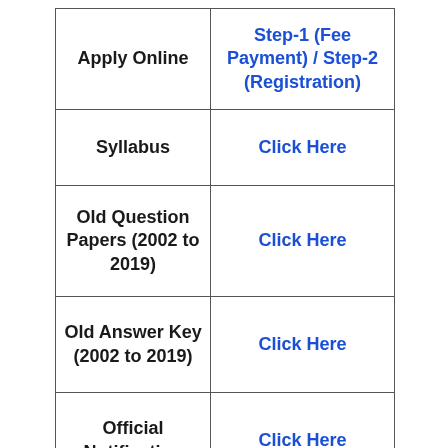| Apply Online | Step-1 (Fee Payment) / Step-2 (Registration) |
| Syllabus | Click Here |
| Old Question Papers (2002 to 2019) | Click Here |
| Old Answer Key (2002 to 2019) | Click Here |
| Official Notification | Click Here |
| Official Website | Click here |